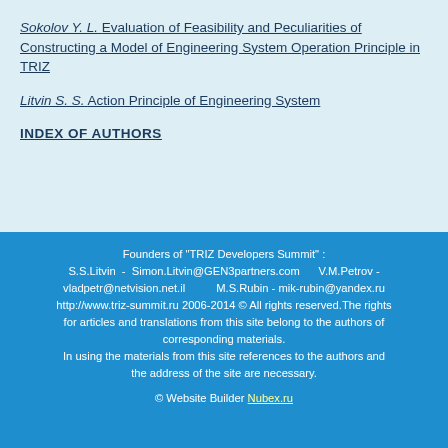Sokolov Y. L. Evaluation of Feasibility and Peculiarities of Constructing a Model of Engineering System Operation Principle in TRIZ
Litvin S. S. Action Principle of Engineering System
INDEX OF AUTHORS
Founders of "TRIZ Developers Summit" : S.S.Litvin - Simon.Litvin@GEN3partners.com V.M.Petrov - vladpetr@netvision.net.il M.S.Rubin - mik-rubin@yandex.ru http://www.triz-summit.ru 2006-2014 © All rights reserved.The rights for articles and translations from this site belong to the authors of corresponding materials. In using the materials from this site references to the authors and the address of the site are necessary. © Website Builder Nubex.ru